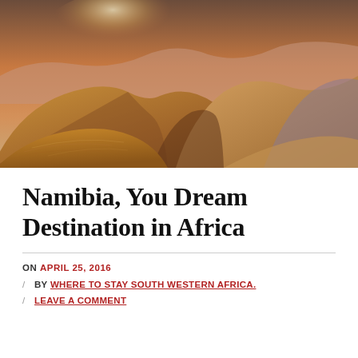[Figure (photo): Aerial/wide-angle desert landscape photograph showing golden and purple sand dunes at sunrise or sunset, with warm orange light illuminating the dunes from the horizon.]
Namibia, You Dream Destination in Africa
ON APRIL 25, 2016
/ BY WHERE TO STAY SOUTH WESTERN AFRICA.
/ LEAVE A COMMENT